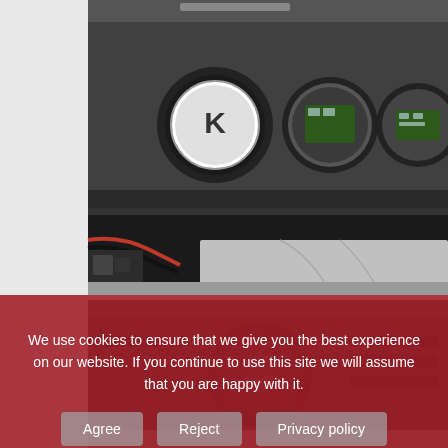[Figure (photo): Interior view of an electronic/mechanical device showing black foam-lined chassis with three circular openings revealing internal components including circuit boards (green PCBs), wiring (red and black wires), and a silver reflective plate or heat shield at the bottom.]
[Figure (photo): Close-up of the bottom portion of the same device, showing a black panel with a circular opening (fan or lens mount) and horizontal slot openings.]
We use cookies to ensure that we give you the best experience on our website. If you continue to use this site we will assume that you are happy with it.